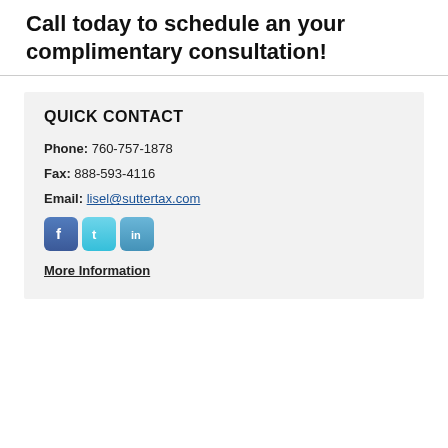Call today to schedule an your complimentary consultation!
QUICK CONTACT
Phone: 760-757-1878
Fax: 888-593-4116
Email: lisel@suttertax.com
[Figure (infographic): Social media icons: Facebook, Twitter, LinkedIn]
More Information